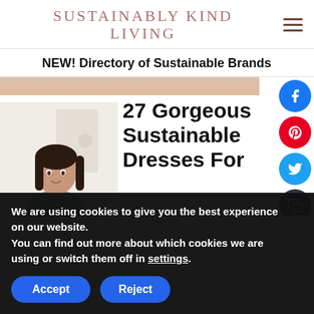SUSTAINABLY KIND LIVING
NEW! Directory of Sustainable Brands
27 Gorgeous Sustainable Dresses For...
[Figure (photo): Author profile photo of a woman with dark hair wearing a teal patterned top, standing in front of a light background]
[Figure (infographic): Social share buttons: Facebook (blue circle), Pinterest (red circle), Twitter (blue circle), Copy (dark circle), Email (dark circle), Plus/expand (light grey circle)]
We are using cookies to give you the best experience on our website.
You can find out more about which cookies we are using or switch them off in settings.
Accept
Reject